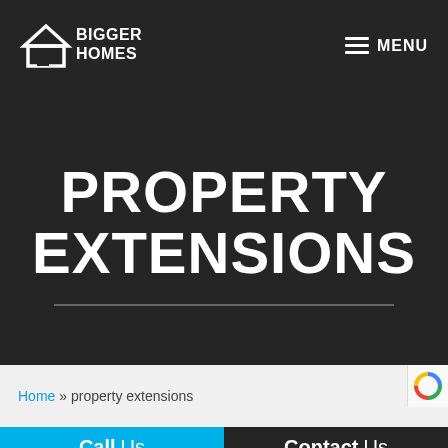BIGGER HOMES — MENU
PROPERTY EXTENSIONS
Home » property extensions
Call Us
Contact Us